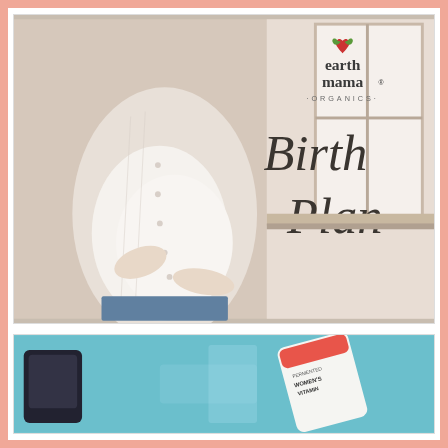[Figure (photo): Pregnant woman in white cardigan holding her belly near a window, with Earth Mama Organics logo and 'Birth Plan' text overlay on the right side]
[Figure (photo): Product photo showing fermented women's prenatal vitamin supplement container on a teal/blue background]